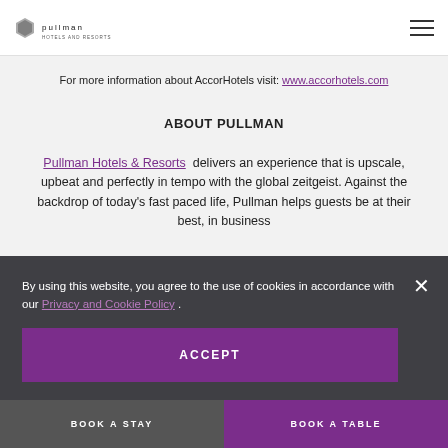Pullman Hotels and Resorts
For more information about AccorHotels visit: www.accorhotels.com
ABOUT PULLMAN
Pullman Hotels & Resorts delivers an experience that is upscale, upbeat and perfectly in tempo with the global zeitgeist. Against the backdrop of today's fast paced life, Pullman helps guests be at their best, in business
By using this website, you agree to the use of cookies in accordance with our Privacy and Cookie Policy .
ACCEPT
Tour ng Kong, Pullman Shanghai South, Pu d Pullm a Olimpia.
BOOK A STAY
BOOK A TABLE